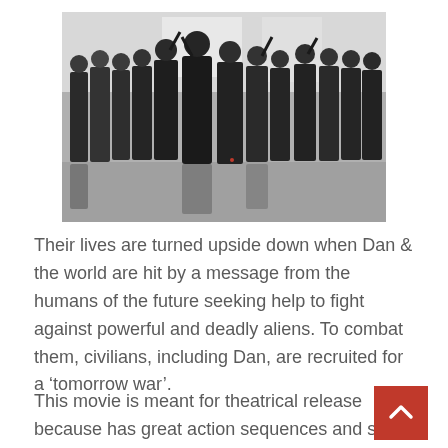[Figure (photo): Black and white promotional photo of a group of armed soldiers/mercenaries posing together in a wet environment, holding weapons and looking at the camera.]
Their lives are turned upside down when Dan & the world are hit by a message from the humans of the future seeking help to fight against powerful and deadly aliens. To combat them, civilians, including Dan, are recruited for a ‘tomorrow war’.
This movie is meant for theatrical release because has great action sequences and some superb visuals. The cinematography is on point, especially during the